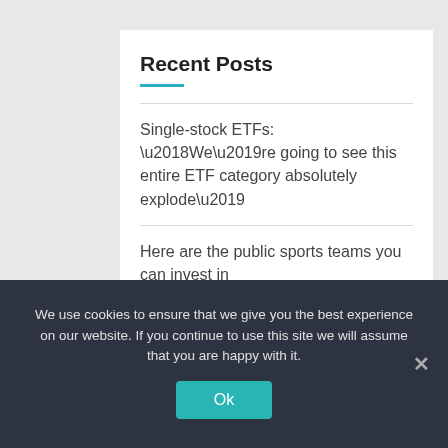Recent Posts
Single-stock ETFs: ‘We’re going to see this entire ETF category absolutely explode’
Here are the public sports teams you can invest in
Crypto bulls’ comeback? Here are factors driving up institutional interest
Opinion: The Fed is not getting cold feet about wrestling inflation to the ground, so
We use cookies to ensure that we give you the best experience on our website. If you continue to use this site we will assume that you are happy with it.